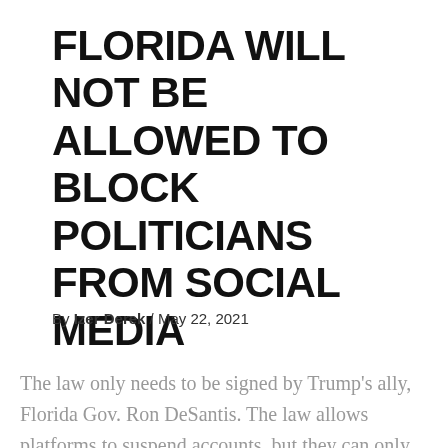FLORIDA WILL NOT BE ALLOWED TO BLOCK POLITICIANS FROM SOCIAL MEDIA
By Izer Derek / May 22, 2021
The law only needs to be signed by Trump's ally, Florida Gov. Ron DeSantis. The law allows platforms to suspend accounts, but they can only be fined on the platforms for 14 days and up to $ 250,000 per day for